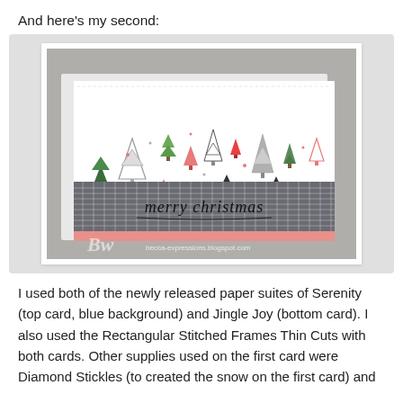And here's my second:
[Figure (photo): A handmade Christmas card featuring multiple illustrated Christmas trees in green, pink, grey, and black on a white background, with a dark plaid/gingham band at the bottom stamped with 'merry christmas' in script. A pink glitter strip runs along the very bottom. Watermark reads 'becca-expressions.blogspot.com'.]
I used both of the newly released paper suites of Serenity (top card, blue background) and Jingle Joy (bottom card). I also used the Rectangular Stitched Frames Thin Cuts with both cards. Other supplies used on the first card were Diamond Stickles (to created the snow on the first card) and